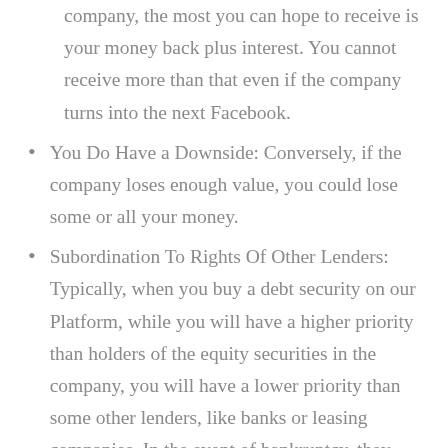company, the most you can hope to receive is your money back plus interest. You cannot receive more than that even if the company turns into the next Facebook.
You Do Have a Downside: Conversely, if the company loses enough value, you could lose some or all your money.
Subordination To Rights Of Other Lenders: Typically, when you buy a debt security on our Platform, while you will have a higher priority than holders of the equity securities in the company, you will have a lower priority than some other lenders, like banks or leasing companies. In the event of bankruptcy, they would have the right to be paid first, up to the value of the assets in which they have security